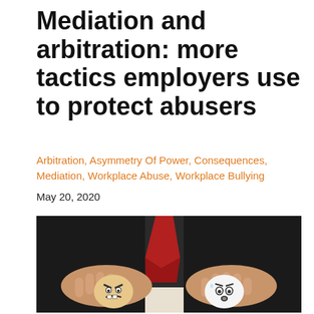Mediation and arbitration: more tactics employers use to protect abusers
Arbitration, Asymmetry Of Power, Consequences, Mediation, Workplace Abuse, Workplace Bullying
May 20, 2020
[Figure (photo): A person in a dark suit and red tie holds two eggs on a white surface; the eggs have cartoon angry and scared faces drawn on them, representing a conflict or power struggle scenario.]